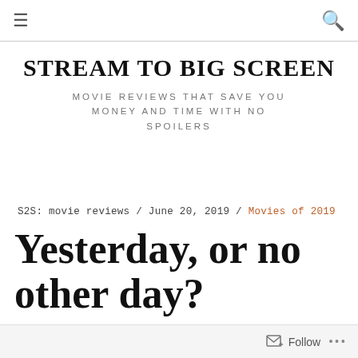≡  🔍
STREAM TO BIG SCREEN
MOVIE REVIEWS THAT SAVE YOU MONEY AND TIME WITH NO SPOILERS
S2S: movie reviews / June 20, 2019 / Movies of 2019
Yesterday, or no other day?
Follow ...